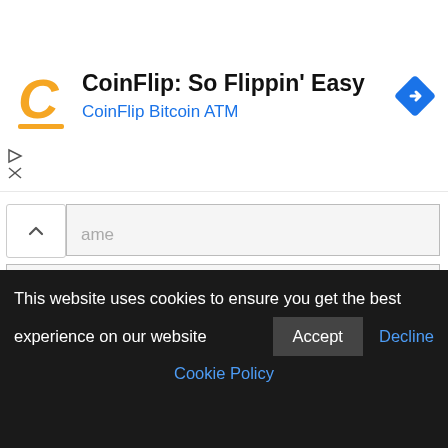CoinFlip: So Flippin' Easy — CoinFlip Bitcoin ATM
ame
Email *
Website
Save my name, email, and website in this browser for the next time I comment.
This website uses cookies to ensure you get the best experience on our website
Accept
Decline
Cookie Policy